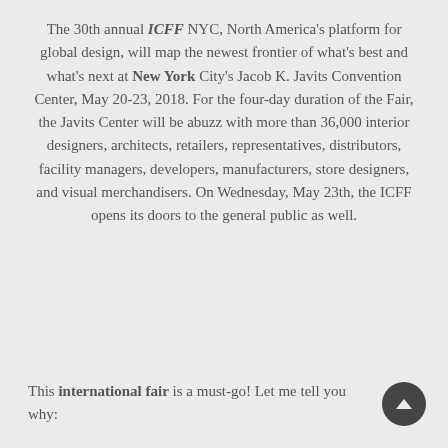The 30th annual ICFF NYC, North America's platform for global design, will map the newest frontier of what's best and what's next at New York City's Jacob K. Javits Convention Center, May 20-23, 2018. For the four-day duration of the Fair, the Javits Center will be abuzz with more than 36,000 interior designers, architects, retailers, representatives, distributors, facility managers, developers, manufacturers, store designers, and visual merchandisers. On Wednesday, May 23th, the ICFF opens its doors to the general public as well.
This international fair is a must-go! Let me tell you why: